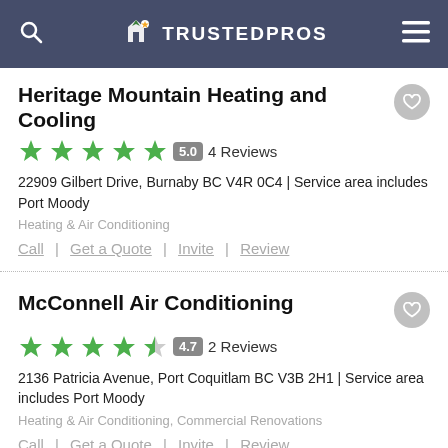TRUSTEDPROS
Heritage Mountain Heating and Cooling
5.0  4 Reviews
22909 Gilbert Drive, Burnaby BC V4R 0C4 | Service area includes Port Moody
Heating & Air Conditioning
Call  |  Get a Quote  |  Invite  |  Review
McConnell Air Conditioning
4.7  2 Reviews
2136 Patricia Avenue, Port Coquitlam BC V3B 2H1 | Service area includes Port Moody
Heating & Air Conditioning, Commercial Renovations
Call  |  Get a Quote  |  Invite  |  Review